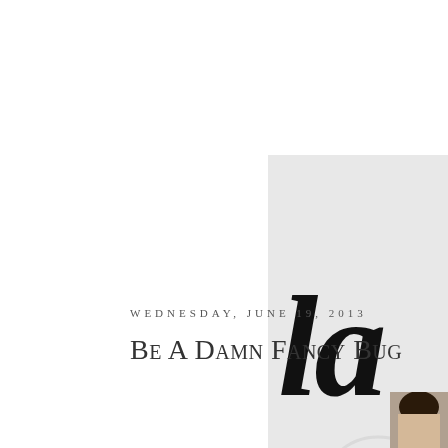[Figure (logo): Light gray box with stylized cursive letter 'la' in black, partial blog logo visible at right edge of page]
WEDNESDAY, JUNE 19, 2013
Be A Damn Fancy Bug
[Figure (photo): Partial photo of a woman with dark hair, cropped at bottom of page]